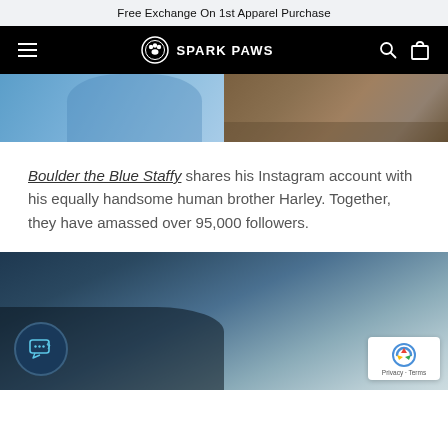Free Exchange On 1st Apparel Purchase
[Figure (screenshot): Spark Paws navigation bar with hamburger menu, logo, search and cart icons on black background]
[Figure (photo): Top portion of a split image showing a person in a blue shirt on the left and a dog on sandy ground on the right]
Boulder the Blue Staffy shares his Instagram account with his equally handsome human brother Harley. Together, they have amassed over 95,000 followers.
[Figure (photo): Bottom photo showing a dark atmospheric outdoor scene with a chat widget icon in the bottom left and a reCAPTCHA badge in the bottom right]